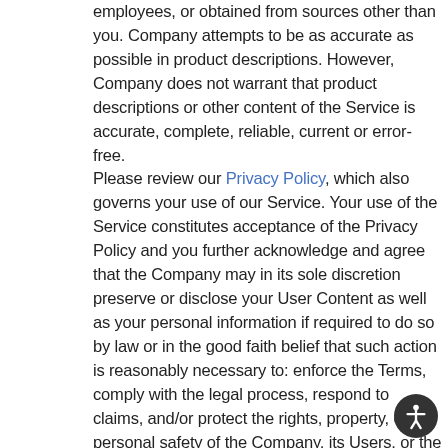employees, or obtained from sources other than you. Company attempts to be as accurate as possible in product descriptions. However, Company does not warrant that product descriptions or other content of the Service is accurate, complete, reliable, current or error-free. Please review our Privacy Policy, which also governs your use of our Service. Your use of the Service constitutes acceptance of the Privacy Policy and you further acknowledge and agree that the Company may in its sole discretion preserve or disclose your User Content as well as your personal information if required to do so by law or in the good faith belief that such action is reasonably necessary to: enforce the Terms, comply with the legal process, respond to claims, and/or protect the rights, property, or personal safety of the Company, its Users, or the general public. If you believe that your copyrighted work has been copied in a way that constitutes copyright infringement and is accessible via the Service, please notify the Company's copyright agent. As set forth in the Digital Millennium Copyright Act (“DMCA”), you must provide the following information in writing: (i) identification of the material that is claimed to be infringing and where it is located on the Service; (ii) identification of the copyrighted work...